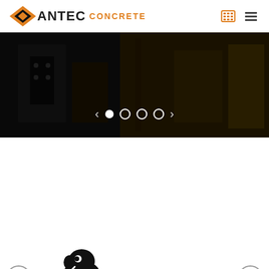[Figure (logo): Antec Concrete logo with diamond shape and orange CONCRETE text]
[Figure (screenshot): Hero banner showing dark industrial machinery with carousel navigation dots]
[Figure (logo): Overmat logo with elephant silhouette and orange M]
[Figure (logo): Staring A/S logo in red bold italic text]